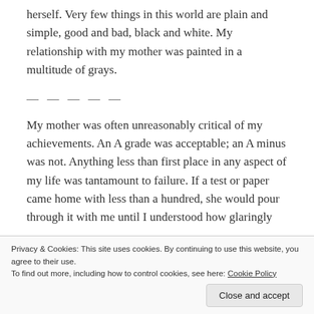herself.  Very few things in this world are plain and simple, good and bad, black and white.  My relationship with my mother was painted in a multitude of grays.
— — — — —
My mother was often unreasonably critical of my achievements.  An A grade was acceptable; an A minus was not.  Anything less than first place in any aspect of my life was tantamount to failure.  If a test or paper came home with less than a hundred, she would pour through it with me until I understood how glaringly
Privacy & Cookies: This site uses cookies. By continuing to use this website, you agree to their use.
To find out more, including how to control cookies, see here: Cookie Policy
Close and accept